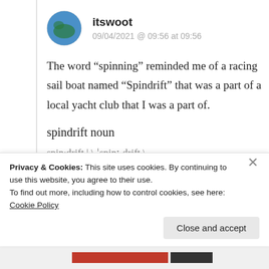[Figure (illustration): Circular avatar photo of user 'itswoot' showing a blue and green globe/earth image]
itswoot
09/04/2021 @ 09:56 at 09:56
The word “spinning” reminded me of a racing sail boat named “Spindrift” that was a part of a local yacht club that I was a part of.
spindrift noun
spin·drift | \ ˈspinː drift \
Privacy & Cookies: This site uses cookies. By continuing to use this website, you agree to their use.
To find out more, including how to control cookies, see here: Cookie Policy
Close and accept